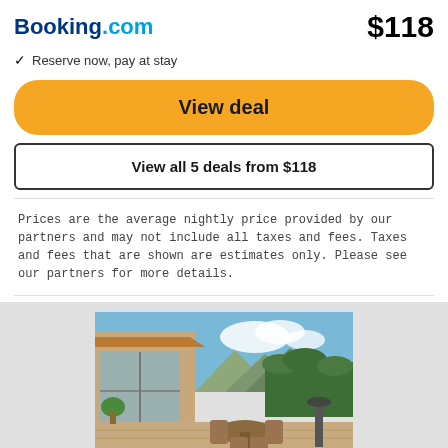Booking.com
$118
✓ Reserve now, pay at stay
View deal
View all 5 deals from $118
Prices are the average nightly price provided by our partners and may not include all taxes and fees. Taxes and fees that are shown are estimates only. Please see our partners for more details.
[Figure (photo): Outdoor patio of a rental home with dining furniture, large glass sliding doors, lush greenery and mountains in the background under a blue sky.]
Rent a home for